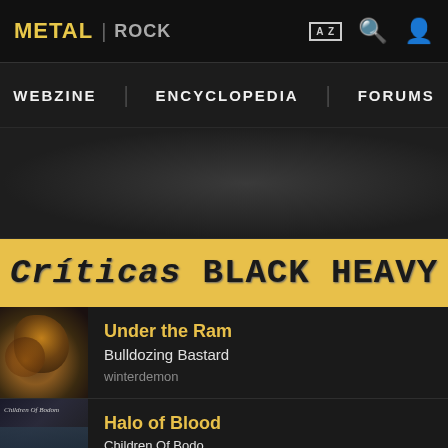METAL | ROCK
WEBZINE  ENCYCLOPEDIA  FORUMS
[Figure (other): Dark textured banner area background]
Críticas BLACK HEAVY
Under the Ram – Bulldozing Bastard – winterdemon
Halo of Blood – Children Of Bodom